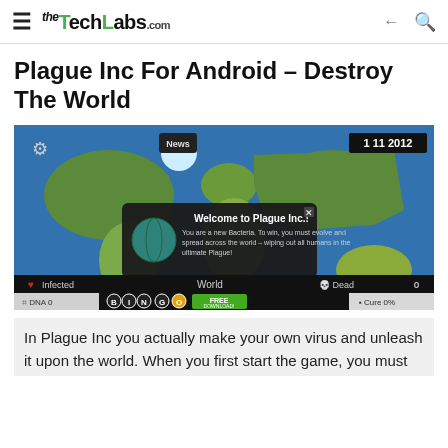TheTechLabs.com
Plague Inc For Android – Destroy The World
[Figure (screenshot): Screenshot of Plague Inc game showing a world map with 'Welcome to Plague Inc.!' dialog box. The dialog reads: 'You are a new Bacteria. To win, you must evolve and spread across the world – wiping out all humans in the ultimate Plague!' The UI shows Infected, World, Dead counters, DNA, Disease, Cure, and World buttons. Date shown: 1 11 2012.]
In Plague Inc you actually make your own virus and unleash it upon the world. When you first start the game, you must